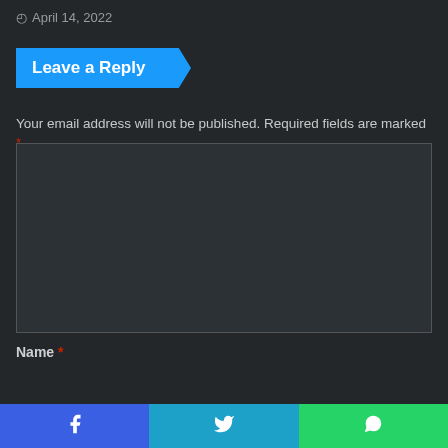April 14, 2022
Leave a Reply
Your email address will not be published. Required fields are marked *
[Figure (other): Comment text area input box (dark background, bordered)]
Name *
[Figure (other): Name input field with blue scroll-to-top button on right]
[Figure (other): Bottom share bar with Facebook, Twitter, and WhatsApp buttons]